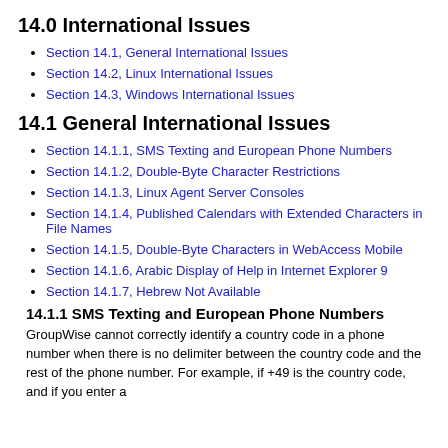14.0 International Issues
Section 14.1, General International Issues
Section 14.2, Linux International Issues
Section 14.3, Windows International Issues
14.1 General International Issues
Section 14.1.1, SMS Texting and European Phone Numbers
Section 14.1.2, Double-Byte Character Restrictions
Section 14.1.3, Linux Agent Server Consoles
Section 14.1.4, Published Calendars with Extended Characters in File Names
Section 14.1.5, Double-Byte Characters in WebAccess Mobile
Section 14.1.6, Arabic Display of Help in Internet Explorer 9
Section 14.1.7, Hebrew Not Available
14.1.1 SMS Texting and European Phone Numbers
GroupWise cannot correctly identify a country code in a phone number when there is no delimiter between the country code and the rest of the phone number. For example, if +49 is the country code, and if you enter a